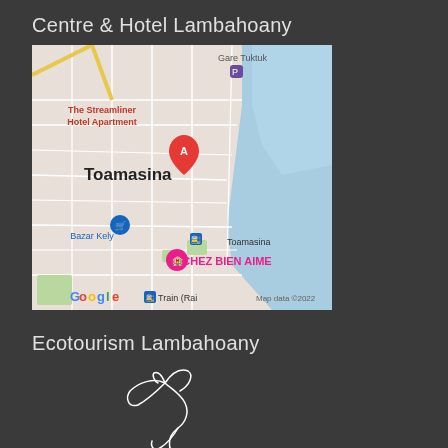Centre & Hotel Lambahoany
[Figure (map): Google Maps screenshot showing Toamasina, Madagascar with a red marker labeled A near 'The Streamliner Hotel Apartment'. Other visible labels include Gare Tuktuk, Bazar Kely, Toamasina train station, CHEZ BIEN AIME, Train (Rai...), and Google Map data ©2022 attribution.]
Ecotourism Lambahoany
[Figure (logo): White line-art logo of a stylized bird or animal on dark background, representing Ecotourism Lambahoany.]